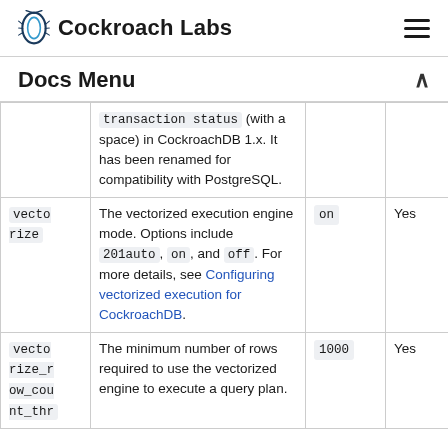Cockroach Labs
Docs Menu
| Variable | Description | Default Value | Can Be Changed with SET SESSION? |
| --- | --- | --- | --- |
| transaction status (with a space) in CockroachDB 1.x. It has been renamed for compatibility with PostgreSQL. |  |  |  |
| vectorize | The vectorized execution engine mode. Options include 201auto, on, and off. For more details, see Configuring vectorized execution for CockroachDB. | on | Yes |
| vectorize_row_count_thr | The minimum number of rows required to use the vectorized engine to execute a query plan. | 1000 | Yes |